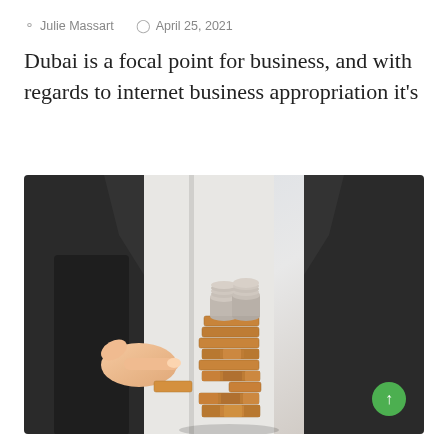Julie Massart   April 25, 2021
Dubai is a focal point for business, and with regards to internet business appropriation it's
[Figure (photo): A person in a business suit pulling a wooden block from a Jenga-style tower that has stacks of coins on top, representing financial risk or business strategy.]